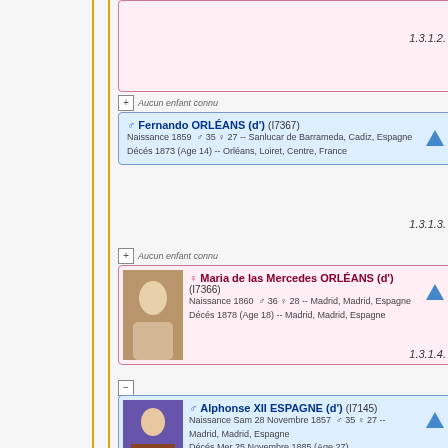Aucun enfant connu
Fernando ORLÉANS (d') (I7367) Naissance 1859 35 27 -- Sanlucar de Barrameda, Cadiz, Espagne Décés 1873 (Age 14) -- Orléans, Loiret, Centre, France
1.3.1.3.
Aucun enfant connu
Maria de las Mercedes ORLÉANS (d') (I7366) Naissance 1860 36 28 -- Madrid, Madrid, Espagne Décés 1878 (Age 18) -- Madrid, Madrid, Espagne
1.3.1.4.
Alphonse XII ESPAGNE (d') (I7145) Naissance Sam 28 Novembre 1857 35 27 -- Madrid, Madrid, Espagne Décés Mer 25 Novembre 1885 (Age 27)
Aucun enfant connu
Antonio ORLÉANS (d') (I7368) Naissance 1866 42 34 -- Séville, Sevilla, Espagne Décés 1930 (Age 64) -- Paris, Paris, Île-de-France, France
1.3.1.5.